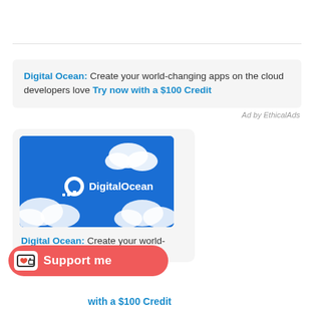[Figure (screenshot): Ad banner for Digital Ocean with text: Digital Ocean: Create your world-changing apps on the cloud developers love Try now with a $100 Credit]
Ad by EthicalAds
[Figure (screenshot): DigitalOcean card with blue banner image showing clouds and logo, followed by text Digital Ocean: Create your world-changing... with a $100 Credit, and a Support me button overlay]